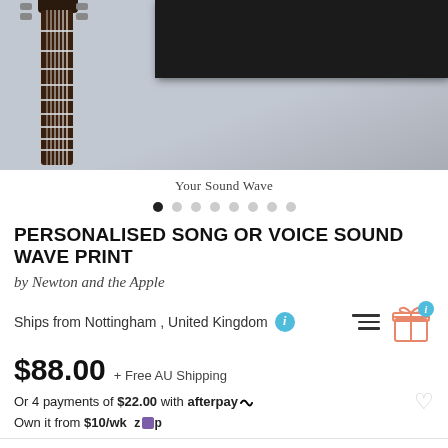[Figure (photo): Product photo showing a guitar neck on the left and a dark framed sound wave print on the wall, gray background]
Your Sound Wave
PERSONALISED SONG OR VOICE SOUND WAVE PRINT
by Newton and the Apple
Ships from Nottingham , United Kingdom
$88.00 + Free AU Shipping
Or 4 payments of $22.00 with afterpay
Own it from $10/wk zip